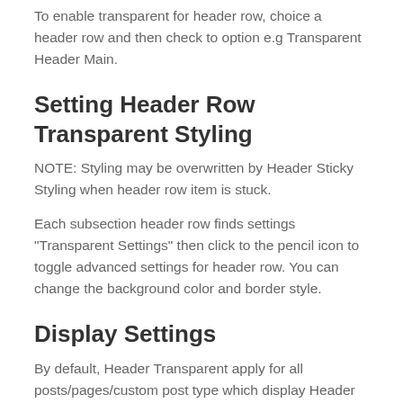To enable transparent for header row, choice a header row and then check to option e.g Transparent Header Main.
Setting Header Row Transparent Styling
NOTE: Styling may be overwritten by Header Sticky Styling when header row item is stuck.
Each subsection header row finds settings “Transparent Settings” then click to the pencil icon to toggle advanced settings for header row. You can change the background color and border style.
Display Settings
By default, Header Transparent apply for all posts/pages/custom post type which display Header